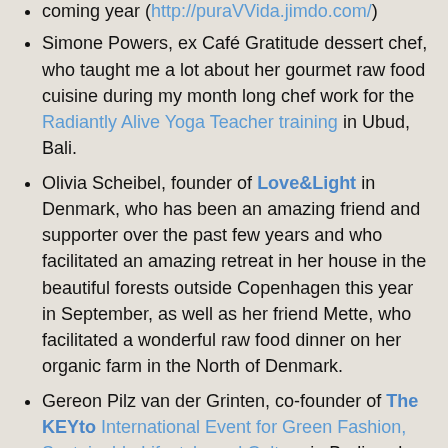coming year (http://puraVVida.jimdo.com/)
Simone Powers, ex Café Gratitude dessert chef, who taught me a lot about her gourmet raw food cuisine during my month long chef work for the Radiantly Alive Yoga Teacher training in Ubud, Bali.
Olivia Scheibel, founder of Love&Light in Denmark, who has been an amazing friend and supporter over the past few years and who facilitated an amazing retreat in her house in the beautiful forests outside Copenhagen this year in September, as well as her friend Mette, who facilitated a wonderful raw food dinner on her organic farm in the North of Denmark.
Gereon Pilz van der Grinten, co-founder of The KEYto International Event for Green Fashion, Sustainable Lifestyle and Culture in Berlin, who has been the most frequent guest in my gourmet private dinner club in Berlin and initiated the idea to offer b.alive! raw food catering during his [fashion shows.]